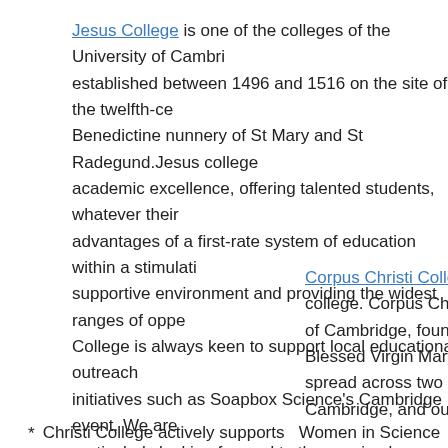Jesus College is one of the colleges of the University of Cambridge, established between 1496 and 1516 on the site of the twelfth-century Benedictine nunnery of St Mary and St Radegund. Jesus college academic excellence, offering talented students, whatever their advantages of a first-rate system of education within a stimulating, supportive environment and providing the widest ranges of opportunities. College is always keen to support local educational outreach initiatives such as Soapbox Science's Cambridge event. We are particularly looking forward to the session by Professor Kathryn, one of the College's Fellows.
Corpus Christi College is sponsoring Sarah college. Corpus Christi College is one of the of Cambridge, founded in 1352 by the Guild of Blessed Virgin Mary. Today it is a vibrant college spread across two campuses – our buildings in Cambridge, and our spacious postgraduate site.
Christi College actively supports Women in Science through support